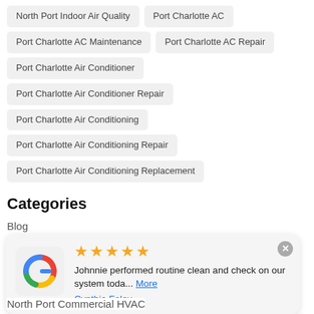North Port Indoor Air Quality
Port Charlotte AC
Port Charlotte AC Maintenance
Port Charlotte AC Repair
Port Charlotte Air Conditioner
Port Charlotte Air Conditioner Repair
Port Charlotte Air Conditioning
Port Charlotte Air Conditioning Repair
Port Charlotte Air Conditioning Replacement
Categories
Blog
North Port AC
[Figure (screenshot): Google review card with 5 stars, Google logo, review text 'Johnnie performed routine clean and check on our system toda... More', reviewer name 'Cynthia Foley', and a close button]
North Port Commercial HVAC